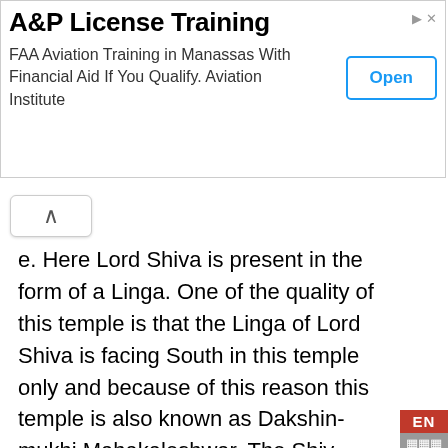[Figure (screenshot): Advertisement banner: 'A&P License Training — FAA Aviation Training in Manassas With Financial Aid If You Qualify. Aviation Institute' with an 'Open' button]
e. Here Lord Shiva is present in the form of a Linga. One of the quality of this temple is that the Linga of Lord Shiva is facing South in this temple only and because of this reason this temple is also known as Dakshin-mukhi Mahakaleshwar. The Shiv-linga here is Swayambhu which means that the Shiv-linga here originated from the Mother Earth.
There is a story associated with the establishment of Mahakaleshwar Jyotirlinga. According to the story, there was a king named Vrushbhasen in the Avantika state. King Vrushbhasen was a great devotee of Lord Shiva who used to spent a lot of time daily in the